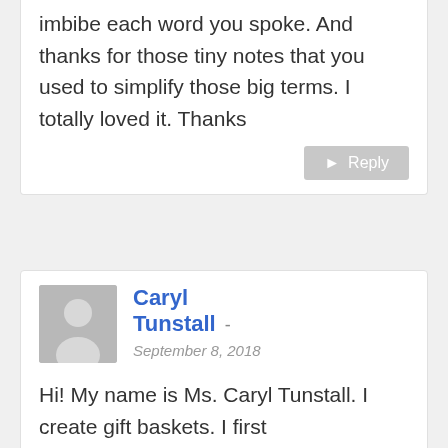imbibe each word you spoke. And thanks for those tiny notes that you used to simplify those big terms. I totally loved it. Thanks
Reply
Caryl Tunstall - September 8, 2018
Hi! My name is Ms. Caryl Tunstall. I create gift baskets. I first